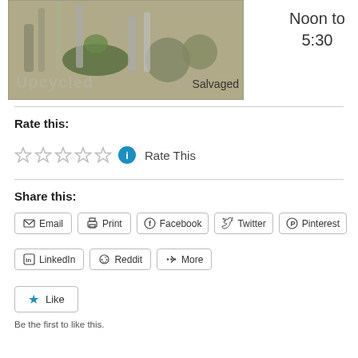[Figure (photo): Photo of upcycled/salvaged metal and green items arranged together, with text overlays 'Upcycled' and 'Salvaged'. Also shows 'Noon to 5:30' text to the right.]
Rate this:
[Figure (other): Five empty star rating icons followed by a blue info circle and 'Rate This' text]
Share this:
Email  Print  Facebook  Twitter  Pinterest
LinkedIn  Reddit  More
Like
Be the first to like this.